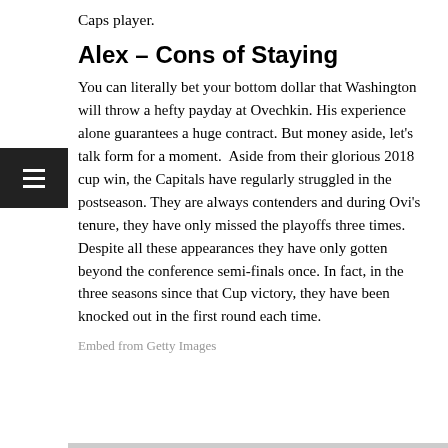Caps player.
Alex – Cons of Staying
You can literally bet your bottom dollar that Washington will throw a hefty payday at Ovechkin. His experience alone guarantees a huge contract. But money aside, let's talk form for a moment.  Aside from their glorious 2018 cup win, the Capitals have regularly struggled in the postseason. They are always contenders and during Ovi's tenure, they have only missed the playoffs three times. Despite all these appearances they have only gotten beyond the conference semi-finals once. In fact, in the three seasons since that Cup victory, they have been knocked out in the first round each time.
Embed from Getty Images